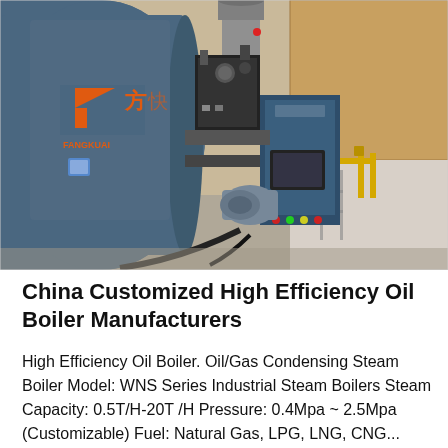[Figure (photo): Industrial oil/gas boiler with a large blue cylindrical body and a blue control panel/burner unit attached on the right side. The boiler has Chinese text and a logo reading 'FANGKUAI' in orange on the front. Yellow gas pipes are visible in the background on the right. The setting is an industrial facility.]
China Customized High Efficiency Oil Boiler Manufacturers
High Efficiency Oil Boiler. Oil/Gas Condensing Steam Boiler Model: WNS Series Industrial Steam Boilers Steam Capacity: 0.5T/H-20T /H Pressure: 0.4Mpa ~ 2.5Mpa (Customizable) Fuel: Natural Gas, LPG, LNG, CNG...